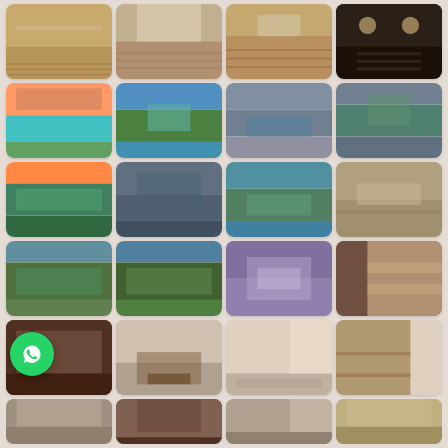[Figure (photo): Grid of resort/hotel interior and exterior photos arranged in 6 rows of 4 images each, showing wooden floored interiors, tropical swimming pools, landscaped resort grounds, aerial views of resort complex, and luxury hotel room interiors. A WhatsApp button overlays the bottom-left area.]
[Figure (other): WhatsApp contact button (green circle with phone icon) overlaid on the photo grid]